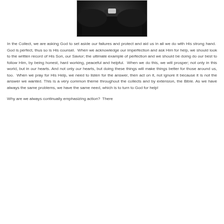[Figure (photo): Photo of a person in dark clerical clothing with a white collar, cropped to show torso area]
In the Collect, we are asking God to set aside our failures and protect and aid us in all we do with His strong hand. God is perfect, thus so is His counsel. When we acknowledge our imperfection and ask Him for help, we should look to the written record of His Son, our Savior; the ultimate example of perfection and we should be doing do our best to follow Him, by being honest, hard working, peaceful and helpful. When we do this, we will prosper; not only in this world, but in our hearts. And not only our hearts, but doing these things will make things better for those around us, too. When we pray for His Help, we need to listen for the answer, then act on it, not ignore it because it is not the answer we wanted. This is a very common theme throughout the collects and by extension, the Bible. As we have always the same problems, we have the same need, which is to turn to God for help!
Why are we always continually emphasizing action? There